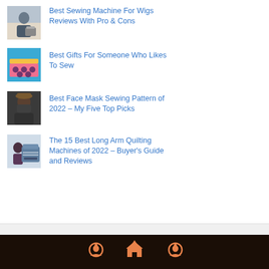Best Sewing Machine For Wigs Reviews With Pro & Cons
Best Gifts For Someone Who Likes To Sew
Best Face Mask Sewing Pattern of 2022 – My Five Top Picks
The 15 Best Long Arm Quilting Machines of 2022 – Buyer's Guide and Reviews